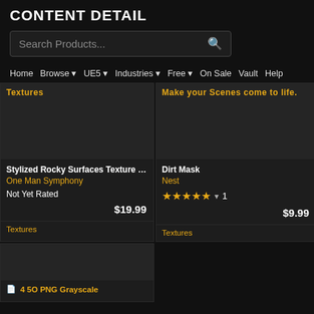CONTENT DETAIL
Search Products...
Home  Browse  UE5  Industries  Free  On Sale  Vault  Help
[Figure (screenshot): Product card: Stylized Rocky Surfaces Texture Pa... by One Man Symphony, Not Yet Rated, $19.99, category: Textures]
[Figure (screenshot): Product card: Dirt Mask by Nest, 5 stars / 1 review, $9.99, category: Textures]
[Figure (screenshot): Partial product card at bottom left showing a partially visible PNG Grayscale item]